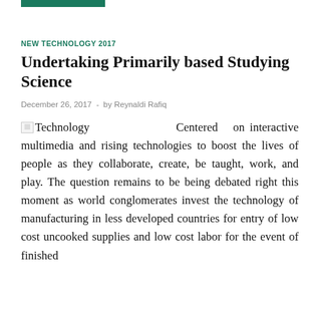NEW TECHNOLOGY 2017
Undertaking Primarily based Studying Science
December 26, 2017  -  by Reynaldi Rafiq
Technology   Centered on interactive multimedia and rising technologies to boost the lives of people as they collaborate, create, be taught, work, and play. The question remains to be being debated right this moment as world conglomerates invest the technology of manufacturing in less developed countries for entry of low cost uncooked supplies and low cost labor for the event of finished